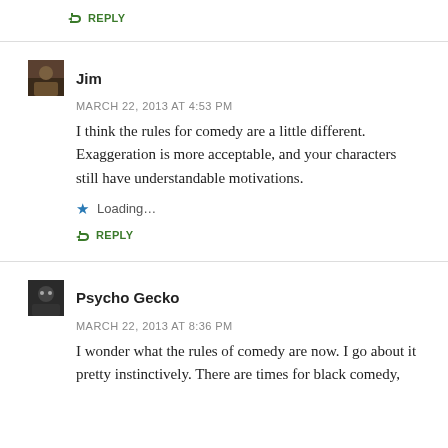↳ REPLY
Jim
MARCH 22, 2013 AT 4:53 PM
I think the rules for comedy are a little different. Exaggeration is more acceptable, and your characters still have understandable motivations.
Loading...
↳ REPLY
Psycho Gecko
MARCH 22, 2013 AT 8:36 PM
I wonder what the rules of comedy are now. I go about it pretty instinctively. There are times for black comedy,